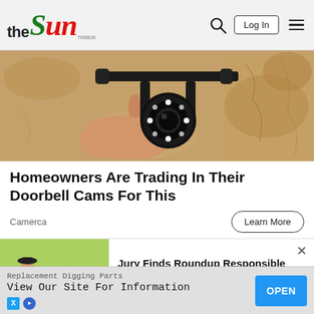the Sun — Log In
[Figure (photo): Security camera mounted on a wall, close-up shot showing the circular camera lens with LED lights and metal bracket mount against a rough concrete/stone wall]
Homeowners Are Trading In Their Doorbell Cams For This
Camerca
Learn More
[Figure (photo): Farmer/worker in blue jacket and hat spraying pesticide in a green field; overlaid with popup ad: 'Jury Finds Roundup Responsible For Lymphoma | Bayer To Pay $1...' from National Injury Bureau | Sponsored]
[Figure (photo): Dark close-up photo strip showing what appears to be hands or a person, partially visible]
Replacement Digging Parts
View Our Site For Information
OPEN